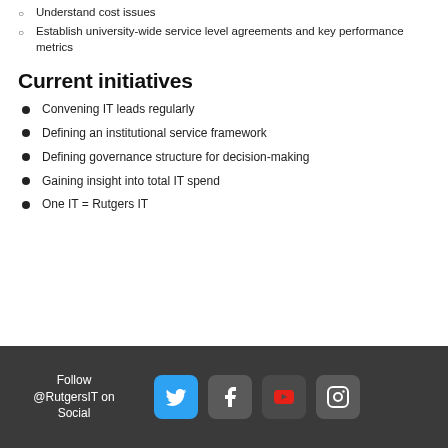Understand cost issues
Establish university-wide service level agreements and key performance metrics
Current initiatives
Convening IT leads regularly
Defining an institutional service framework
Defining governance structure for decision-making
Gaining insight into total IT spend
One IT = Rutgers IT
Follow @RutgersIT on Social